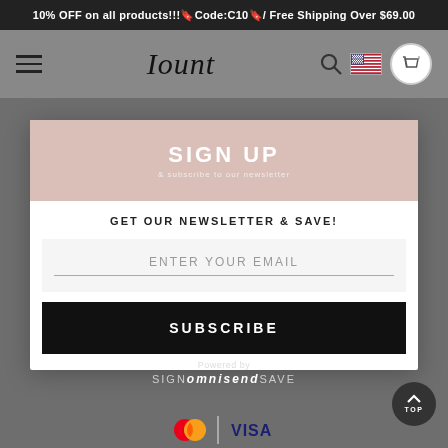10% OFF on all products!!!🔖Code:C10🔖/ Free Shipping Over $69.00
Iount
[Figure (screenshot): Navigation bar with hamburger menu, Iount logo, search icon, US flag, and cart icon]
SIGN UP
GET OUR NEWSLETTER & SAVE!
ENTER YOUR EMAIL
SUBSCRIBE
Powered by omnisend
SIGN UP & SAVE
[Figure (logo): Mastercard and Visa payment icons]
TOP